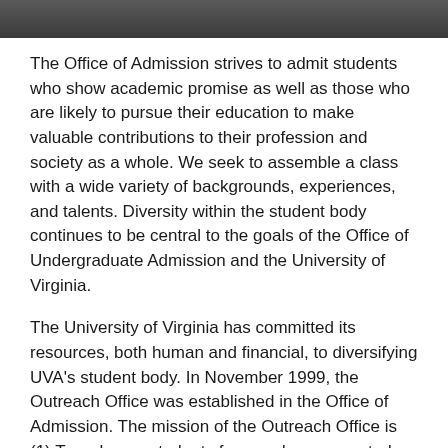[Figure (photo): Photo strip at top of page showing people, partially cropped]
The Office of Admission strives to admit students who show academic promise as well as those who are likely to pursue their education to make valuable contributions to their profession and society as a whole. We seek to assemble a class with a wide variety of backgrounds, experiences, and talents. Diversity within the student body continues to be central to the goals of the Office of Undergraduate Admission and the University of Virginia.
The University of Virginia has committed its resources, both human and financial, to diversifying UVA's student body. In November 1999, the Outreach Office was established in the Office of Admission. The mission of the Outreach Office is (1) To welcome students from underrepresented and underserved groups to the University of Virginia, (2) To help students compete successfully in the admission process at UVA, and give students general advice about finding a college that will help them reach their potential and achieve their